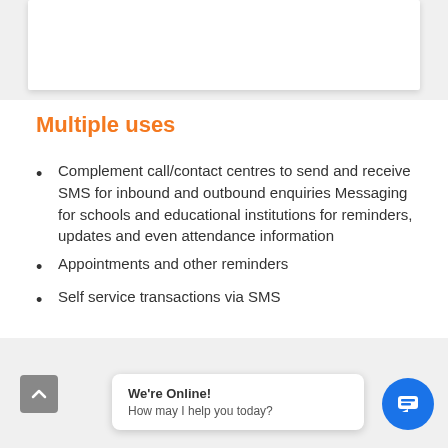Multiple uses
Complement call/contact centres to send and receive SMS for inbound and outbound enquiries Messaging for schools and educational institutions for reminders, updates and even attendance information
Appointments and other reminders
Self service transactions via SMS
We're Online! How may I help you today?